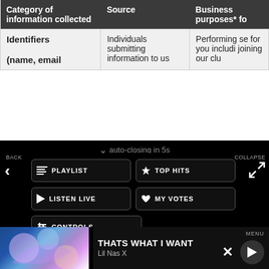| Category of information collected | Source | Business purposes* fo |
| --- | --- | --- |
| Identifiers

(name, email | Individuals submitting information to us | Performing se for you includi joining our clu |
↓ auto-closing in 5s
[Figure (screenshot): App navigation UI with black background showing menu buttons: PLAYLIST, TOP HITS, LISTEN LIVE, MY VOTES, CONTROLS. Back arrow on left, Collapse on right. Data opt-out toggle at bottom. Ad banner for Outsourcing Software with See More button. Now playing bar showing THATS WHAT I WANT by Lil Nas X with close and play buttons.]